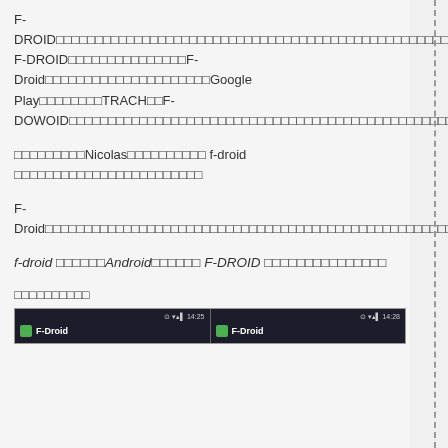F-DROID□□□□□□□□□□□□□□□□□□□□□□□□□□□□□□□□□□□□□□□□□□□□□□□□□□□□□□□□□□□□□□□□□□□□□□□□□ F-DROID□□□□□□□□□□□□□□□F-Droid□□□□□□□□□□□□□□□□□□□□□Google Play□□□□□□□□TRACH□□F-DOWOID□□□□□□□□□□□□□□□□□□□□□□□□□□□□□□□□□□□□□□□□□□□□□□□□□□□□□□□□□□□□
□□□□□□□□□Nicolas□□□□□□□□□□ f-droid □□□□□□□□□□□□□□□□□□□□□□□□
F-Droid□□□□□□□□□□□□□□□□□□□□□□□□□□□□□□□□□□□□□□□□□□□□□□□□□□□□□□□□□□□□□□□□□□□□□□□□□□□□□□□□□□□□□□□□□□□
f-droid □□□□□□Android□□□□□□ F-DROID □□□□□□□□□□□□□□□
□□□□□□□□□□
[Figure (screenshot): Two Android screenshots side by side showing F-Droid app at 14:25 and 14:28]